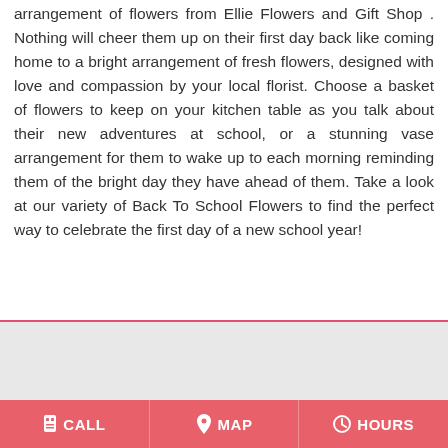arrangement of flowers from Ellie Flowers and Gift Shop . Nothing will cheer them up on their first day back like coming home to a bright arrangement of fresh flowers, designed with love and compassion by your local florist. Choose a basket of flowers to keep on your kitchen table as you talk about their new adventures at school, or a stunning vase arrangement for them to wake up to each morning reminding them of the bright day they have ahead of them. Take a look at our variety of Back To School Flowers to find the perfect way to celebrate the first day of a new school year!
CALL   MAP   HOURS